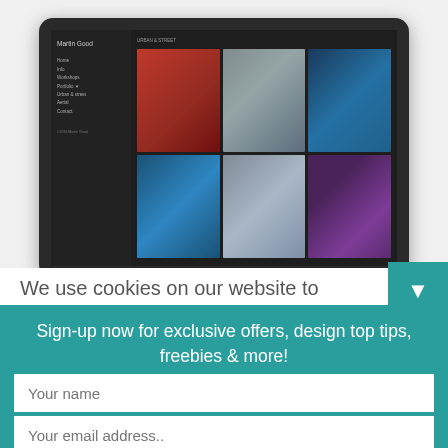[Figure (screenshot): Screenshot of a dark-themed portfolio website displayed on a monitor mockup. The site shows a sidebar with 'Martin Good' as the title and navigation links, with a gallery grid of 6 thumbnail images in red, grey-blue, dark blue, blue, muted blue/grey, and indigo/purple tones.]
We use cookies on our website to
Sign-up now for exclusive offers, design top tips, freebies & more!
Your name
Your email address..
Subscribe